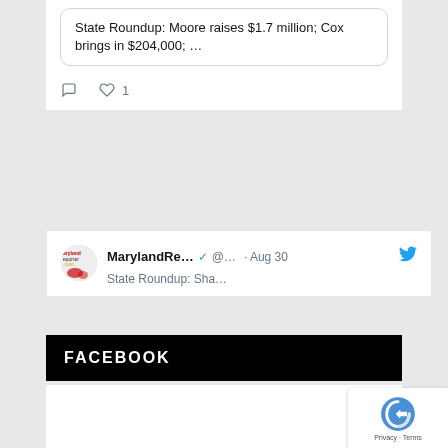State Roundup: Moore raises $1.7 million; Cox brings in $204,000; …
1
MarylandRe... @ ... · Aug 30
State Roundup: Sha...
FACEBOOK
[Figure (screenshot): reCAPTCHA Privacy Terms badge]